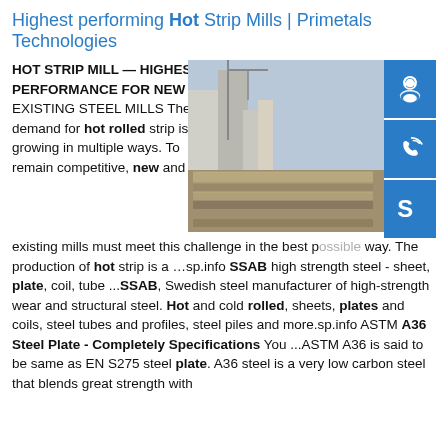Highest performing Hot Strip Mills | Primetals Technologies
HOT STRIP MILL — HIGHEST PERFORMANCE FOR NEW AND EXISTING STEEL MILLS The demand for hot rolled strip is growing in multiple ways. To remain competitive, new and existing mills must meet this challenge in the best possible way. The production of hot strip is a …sp.info SSAB high strength steel - sheet, plate, coil, tube ...SSAB, Swedish steel manufacturer of high-strength wear and structural steel. Hot and cold rolled, sheets, plates and coils, steel tubes and profiles, steel piles and more.sp.info ASTM A36 Steel Plate - Completely Specifications You ...ASTM A36 is said to be same as EN S275 steel plate. A36 steel is a very low carbon steel that blends great strength with
[Figure (photo): Photo of stacked steel plates/coils in an industrial yard with buildings in the background]